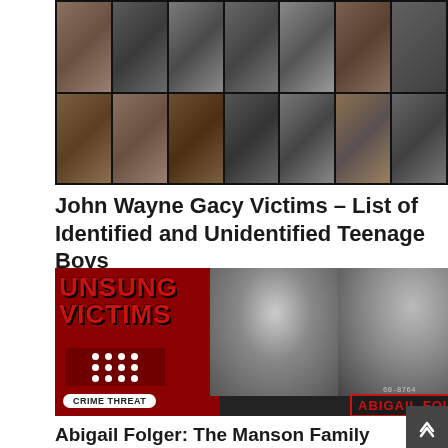[Figure (photo): Grid of black and white portrait photos of John Wayne Gacy victims, arranged in 2 rows of 7 columns]
John Wayne Gacy Victims – List of Identified and Unidentified Teenage Boys
[Figure (infographic): Unsung Victims podcast/Crime Threat branded image showing two black and white photos of Abigail Folger with red bold 'UNSUNG VICTIMS' text and 'ABIGAIL FOLGER' label]
Abigail Folger: The Manson Family Victim of Sharon Tate Murder